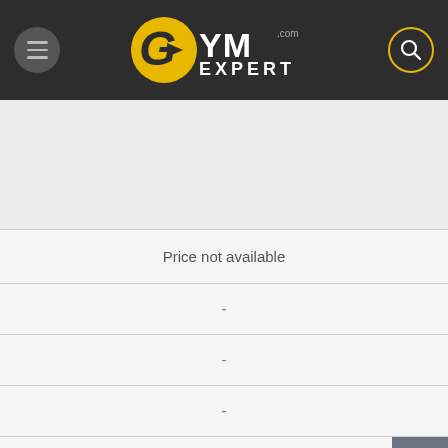GYM EXPERT - navigation header with menu and search
[Figure (other): Empty image placeholder area (product image not shown)]
| Price not available |
| - |
| - |
| - |
Buy on Amazon
Table of Contents